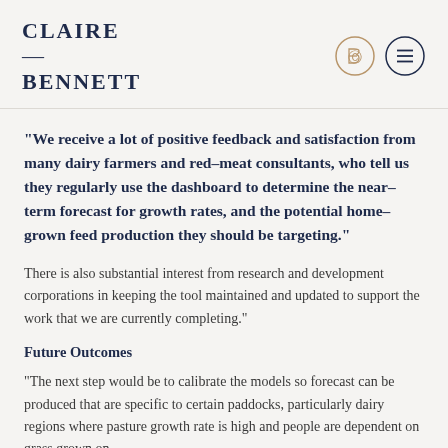CLAIRE — BENNETT
[Figure (logo): Claire Bennett logo with circular CB monogram icon and hamburger menu icon on the right]
"We receive a lot of positive feedback and satisfaction from many dairy farmers and red–meat consultants, who tell us they regularly use the dashboard to determine the near–term forecast for growth rates, and the potential home–grown feed production they should be targeting."
There is also substantial interest from research and development corporations in keeping the tool maintained and updated to support the work that we are currently completing."
Future Outcomes
"The next step would be to calibrate the models so forecast can be produced that are specific to certain paddocks, particularly dairy regions where pasture growth rate is high and people are dependent on grass grown on